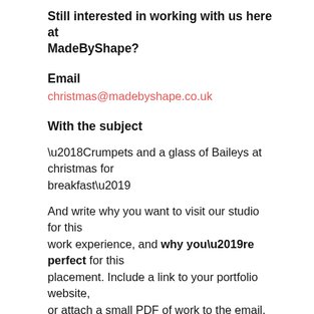Still interested in working with us here at MadeByShape?
Email
christmas@madebyshape.co.uk
With the subject
‘Crumpets and a glass of Baileys at christmas for breakfast’
And write why you want to visit our studio for this work experience, and why you’re perfect for this placement. Include a link to your portfolio website, or attach a small PDF of work to the email. Also include a CV or experience list of studios you’ve